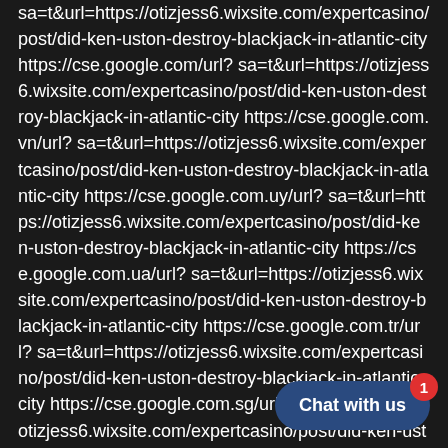sa=t&url=https://otizjess6.wixsite.com/expertcasino/post/did-ken-uston-destroy-blackjack-in-atlantic-city https://cse.google.com/url?sa=t&url=https://otizjess6.wixsite.com/expertcasino/post/did-ken-uston-destroy-blackjack-in-atlantic-city https://cse.google.com.vn/url?sa=t&url=https://otizjess6.wixsite.com/expertcasino/post/did-ken-uston-destroy-blackjack-in-atlantic-city https://cse.google.com.uy/url?sa=t&url=https://otizjess6.wixsite.com/expertcasino/post/did-ken-uston-destroy-blackjack-in-atlantic-city https://cse.google.com.ua/url?sa=t&url=https://otizjess6.wixsite.com/expertcasino/post/did-ken-uston-destroy-blackjack-in-atlantic-city https://cse.google.com.tr/url?sa=t&url=https://otizjess6.wixsite.com/expertcasino/post/did-ken-uston-destroy-blackjack-in-atlantic-city https://cse.google.com.sg/url?sa=t&url=https://otizjess6.wixsite.com/expertcasino/post/did-ken-uston-destroy-blackjack-in-atlantic-city https://cse.google.com.sa/url?sa=t&url=https://otizjess6.wixsite.com/expertcasino/post/did-ken-uston-destroy-blackjack-in-atlantic-city
[Figure (other): Chat widget button with badge showing '1' notification and 'Chat with us' text on dark blue background]